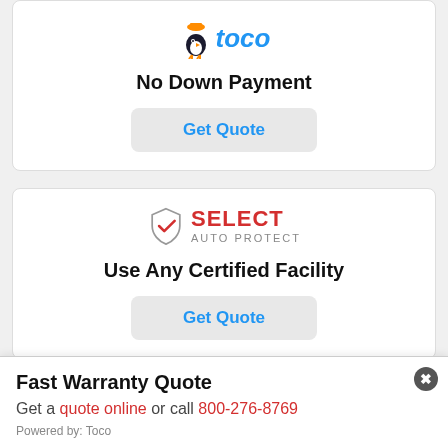[Figure (logo): Toco insurance logo with bird mascot and blue italic toco text]
No Down Payment
Get Quote
[Figure (logo): Select Auto Protect logo with shield icon, SELECT in red, AUTO PROTECT in grey]
Use Any Certified Facility
Get Quote
[Figure (logo): CARCHEX logo in red bold text, partially visible]
Fast Warranty Quote
Get a quote online or call 800-276-8769
Powered by: Toco